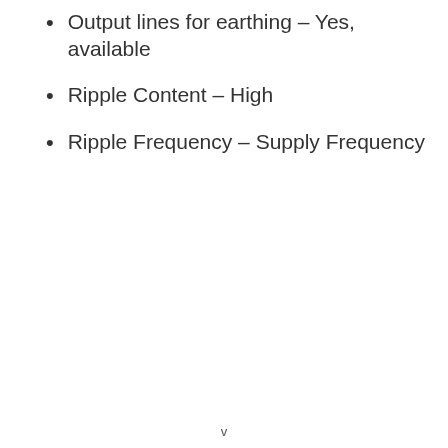Output lines for earthing – Yes, available
Ripple Content – High
Ripple Frequency – Supply Frequency
v